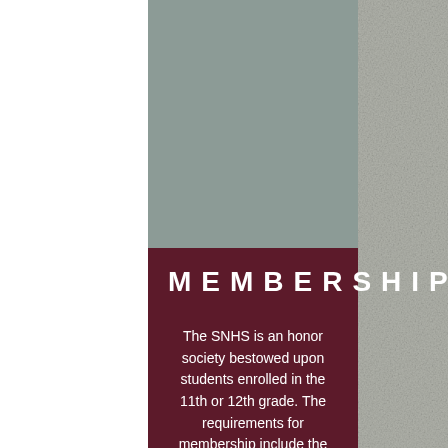MEMBERSHIP
The SNHS is an honor society bestowed upon students enrolled in the 11th or 12th grade. The requirements for membership include the following:
Must have and maintain a 3.0 grade